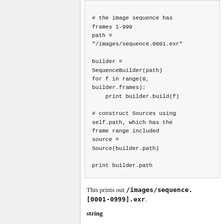# the image sequence has frames 1-999
path = "/images/sequence.0001.exr"

builder = SequenceBuilder(path)
for f in range(0, builder.frames):
    print builder.build(f)

# construct Sources using self.path, which has the frame range included
source = Source(builder.path)

print builder.path
This prints out /images/sequence.[0001-0999].exr.
string